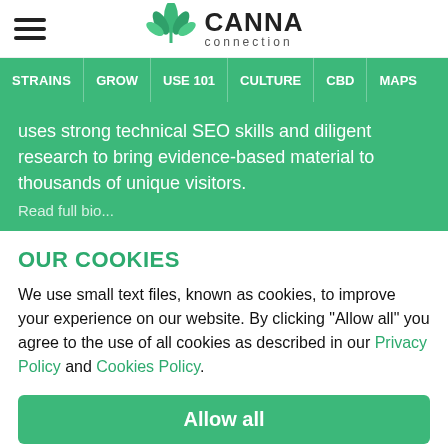[Figure (logo): Canna Connection logo with cannabis leaf icon and text 'CANNA connection']
STRAINS | GROW | USE 101 | CULTURE | CBD | MAPS
uses strong technical SEO skills and diligent research to bring evidence-based material to thousands of unique visitors.
OUR COOKIES
We use small text files, known as cookies, to improve your experience on our website. By clicking "Allow all" you agree to the use of all cookies as described in our Privacy Policy and Cookies Policy.
Allow all
Reject all
Manage cookies